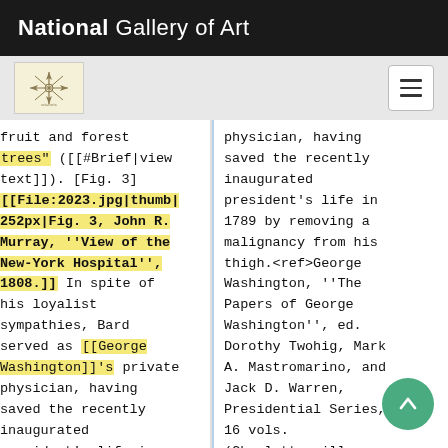National Gallery of Art
[Figure (logo): Small decorative icon in beige box, snowflake/compass rose design]
fruit and forest trees" ([[#Brief|view text]]). [Fig. 3] [[File:2023.jpg|thumb|252px|Fig. 3, John R. Murray, ''View of the New-York Hospital'', 1808.]] In spite of his loyalist sympathies, Bard served as [[George Washington]]'s private physician, having saved the recently inaugurated president's life in 1789 by removing a
physician, having saved the recently inaugurated president's life in 1789 by removing a malignancy from his thigh.<ref>George Washington, ''The Papers of George Washington'', ed. Dorothy Twohig, Mark A. Mastromarino, and Jack D. Warren, Presidential Series, 16 vols. (Charlottesville: University Press of